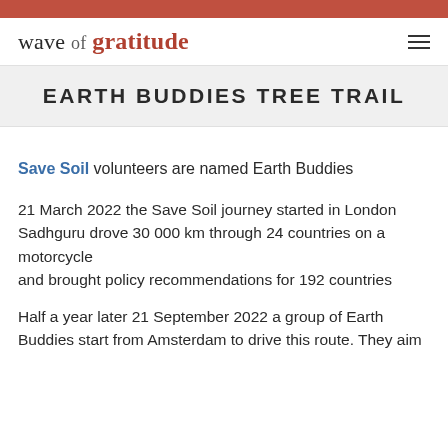wave of gratitude
EARTH BUDDIES TREE TRAIL
Save Soil volunteers are named Earth Buddies
21 March 2022 the Save Soil journey started in London Sadhguru drove 30 000 km through 24 countries on a motorcycle
and brought policy recommendations for 192 countries
Half a year later 21 September 2022 a group of Earth Buddies start from Amsterdam to drive this route. They aim